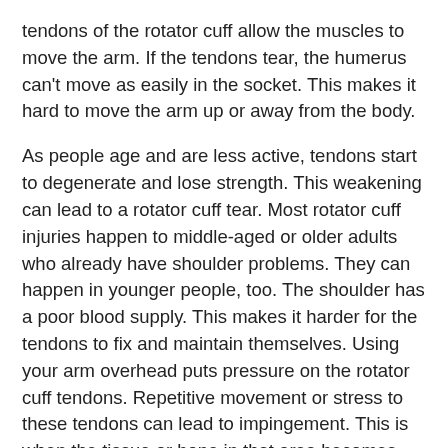tendons of the rotator cuff allow the muscles to move the arm. If the tendons tear, the humerus can't move as easily in the socket. This makes it hard to move the arm up or away from the body.
As people age and are less active, tendons start to degenerate and lose strength. This weakening can lead to a rotator cuff tear. Most rotator cuff injuries happen to middle-aged or older adults who already have shoulder problems. They can happen in younger people, too. The shoulder has a poor blood supply. This makes it harder for the tendons to fix and maintain themselves. Using your arm overhead puts pressure on the rotator cuff tendons. Repetitive movement or stress to these tendons can lead to impingement. This is when the tissue or bone in that area becomes misaligned and rubs or chafes.
The rotator cuff tendons can be injured or torn by trying to lift a very heavy object with an extended arm. It can